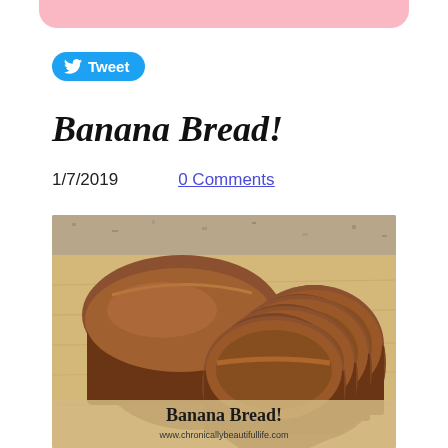[Figure (other): Pink rounded bar at top of page]
[Figure (other): Twitter Tweet button with bird icon]
Banana Bread!
1/7/2019    0 Comments
[Figure (photo): Photo of a sliced banana bread loaf on a wooden cutting board. Text overlay at bottom reads 'Banana Bread!' and 'www.chronicallybeautifullife.com']